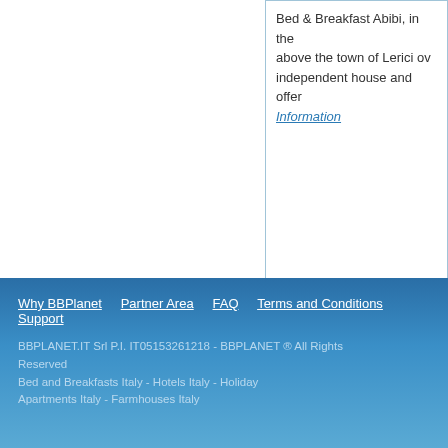Bed & Breakfast Abibi, in the above the town of Lerici ov... independent house and offer... Information
Why BBPlanet  Partner Area  FAQ  Terms and Conditions  Support  BBPLANET.IT Srl P.I. IT05153261218 - BBPLANET ® All Rights Reserved  Bed and Breakfasts Italy - Hotels Italy - Holiday Apartments Italy - Farmhouses Italy